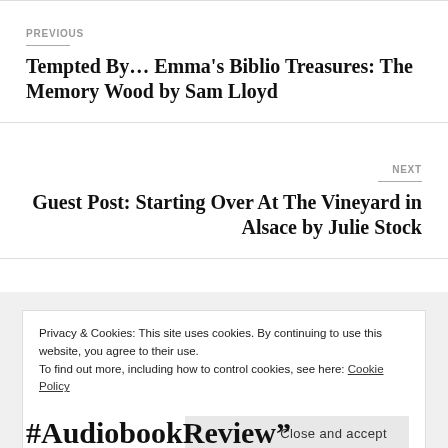PREVIOUS
Tempted By… Emma's Biblio Treasures: The Memory Wood by Sam Lloyd
NEXT
Guest Post: Starting Over At The Vineyard in Alsace by Julie Stock
Privacy & Cookies: This site uses cookies. By continuing to use this website, you agree to their use.
To find out more, including how to control cookies, see here: Cookie Policy
Close and accept
#AudiobookReview”